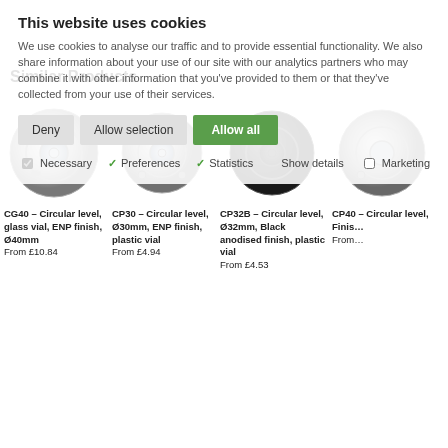This website uses cookies
We use cookies to analyse our traffic and to provide essential functionality. We also share information about your use of our site with our analytics partners who may combine it with other information that you've provided to them or that they've collected from your use of their services.
Similar Products
[Figure (photo): Product photo: CG40 circular level, silver/metallic finish, glass vial, Ø40mm]
CG40 – Circular level, glass vial, ENP finish, Ø40mm
From £10.84
[Figure (photo): Product photo: CP30 circular level, silver metallic finish, plastic vial, Ø30mm]
CP30 – Circular level, Ø30mm, ENP finish, plastic vial
From £4.94
[Figure (photo): Product photo: CP32B circular level, black anodised finish, plastic vial, Ø32mm]
CP32B – Circular level, Ø32mm, Black anodised finish, plastic vial
From £4.53
[Figure (photo): Product photo: CP40 circular level, partially visible]
CP40 – Circular level, Finish...
From...
Shopping Cart Summary
Loading...